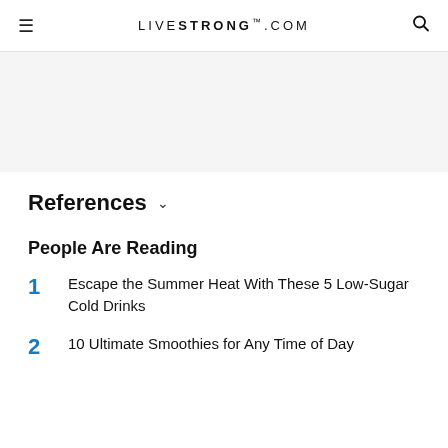LIVESTRONG.COM
[Figure (other): Gray banner/advertisement placeholder area]
References ∨
People Are Reading
1  Escape the Summer Heat With These 5 Low-Sugar Cold Drinks
2  10 Ultimate Smoothies for Any Time of Day